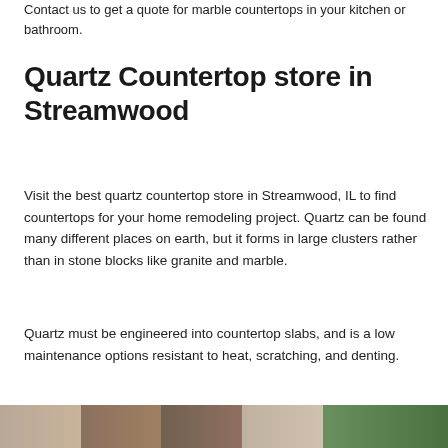Contact us to get a quote for marble countertops in your kitchen or bathroom.
Quartz Countertop store in Streamwood
Visit the best quartz countertop store in Streamwood, IL to find countertops for your home remodeling project. Quartz can be found many different places on earth, but it forms in large clusters rather than in stone blocks like granite and marble.
Quartz must be engineered into countertop slabs, and is a low maintenance options resistant to heat, scratching, and denting.
[Figure (photo): Photo strip showing countertop samples and kitchen/bathroom scenes]